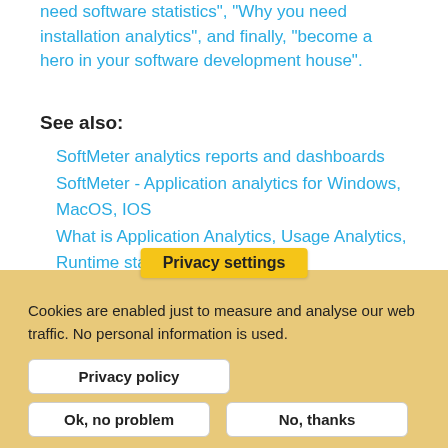need software statistics", "Why you need installation analytics", and finally, "become a hero in your software development house".
See also:
SoftMeter analytics reports and dashboards
SoftMeter - Application analytics for Windows, MacOS, IOS
What is Application Analytics, Usage Analytics, Runtime statistics?
Tags:
Privacy settings
Cookies are enabled just to measure and analyse our web traffic. No personal information is used.
Privacy policy
Ok, no problem   No, thanks